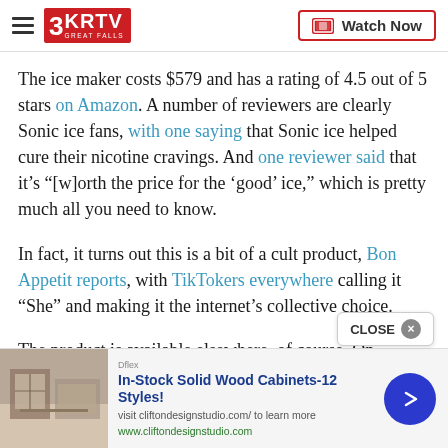3KRTV Great Falls | Watch Now
The ice maker costs $579 and has a rating of 4.5 out of 5 stars on Amazon. A number of reviewers are clearly Sonic ice fans, with one saying that Sonic ice helped cure their nicotine cravings. And one reviewer said that it’s “[w]orth the price for the ‘good’ ice,” which is pretty much all you need to know.
In fact, it turns out this is a bit of a cult product, Bon Appetit reports, with TikTokers everywhere calling it “She” and making it the internet’s collective choice.
The product is available elsewhere, of course. On …
In-Stock Solid Wood Cabinets-12 Styles!
visit cliftondesignstudio.com/ to learn more
www.cliftondesignstudio.com